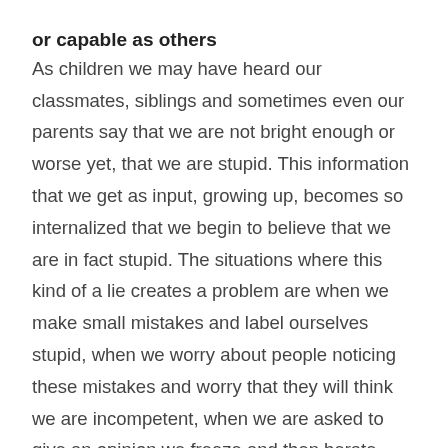or capable as others
As children we may have heard our classmates, siblings and sometimes even our parents say that we are not bright enough or worse yet, that we are stupid. This information that we get as input, growing up, becomes so internalized that we begin to believe that we are in fact stupid. The situations where this kind of a lie creates a problem are when we make small mistakes and label ourselves stupid, when we worry about people noticing these mistakes and worry that they will think we are incompetent, when we are asked to give an opinion we freeze and then berate ourselves as stupid.